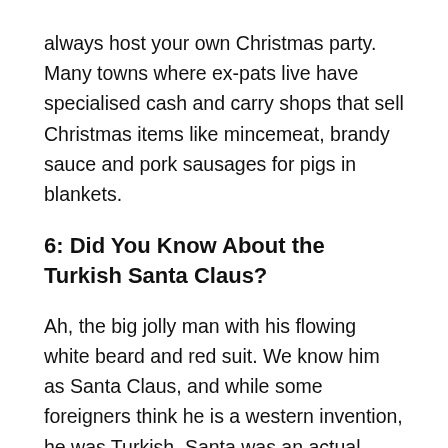always host your own Christmas party. Many towns where ex-pats live have specialised cash and carry shops that sell Christmas items like mincemeat, brandy sauce and pork sausages for pigs in blankets.
6: Did You Know About the Turkish Santa Claus?
Ah, the big jolly man with his flowing white beard and red suit. We know him as Santa Claus, and while some foreigners think he is a western invention, he was Turkish. Santa was an actual person born in Patara, on Turkey's western coast. He later became the Christian mayor of Myra, and it was there that he earned his name and reputation. He used to drop presents down